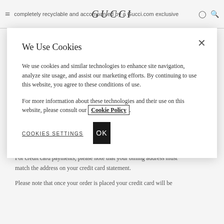completely recyclable and accompanied by a Gucci.com exclusive
We Use Cookies
We use cookies and similar technologies to enhance site navigation, analyze site usage, and assist our marketing efforts. By continuing to use this website, you agree to these conditions of use.
For more information about these technologies and their use on this website, please consult our Cookie Policy.
COOKIES SETTINGS
OK
*excluding Kuwait, Qatar and Saudi Arabia.
For credit card payments, please note that your billing address must match the address on your credit card statement.
Please note that once your order is placed your credit card will be